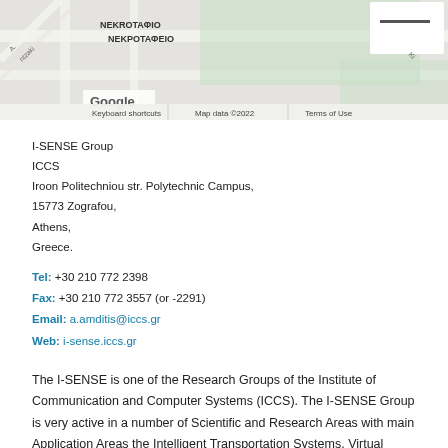[Figure (map): Google Maps screenshot showing NEKROTAФEIO area with map controls, keyboard shortcuts, map data 2022 copyright notice, and Terms of Use.]
I-SENSE Group
ICCS
Iroon Politechniou str. Polytechnic Campus,
15773 Zografou,
Athens,
Greece.
Tel: +30 210 772 2398
Fax: +30 210 772 3557 (or -2291)
Email: a.amditis@iccs.gr
Web: i-sense.iccs.gr
The I-SENSE is one of the Research Groups of the Institute of Communication and Computer Systems (ICCS). The I-SENSE Group is very active in a number of Scientific and Research Areas with main Application Areas the Intelligent Transportation Systems, Virtual Environments, Assistive Technologies as well as Sensors and Embedded systems.